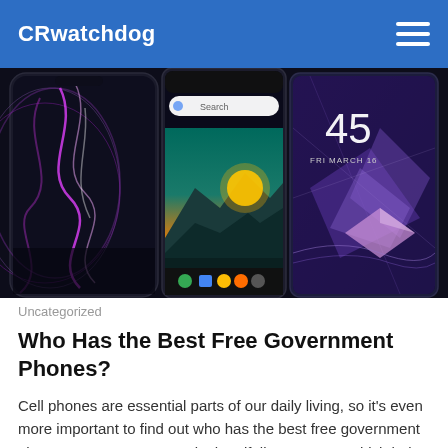CRwatchdog
[Figure (photo): Three smartphones displayed side by side: an iPhone XR with a colorful abstract wallpaper on the left, an Android phone showing a sunset mountain landscape and Google search bar in the center, and another smartphone showing the number 45 and FRI MARCH 16 on a purple geometric wallpaper on the right.]
Uncategorized
Who Has the Best Free Government Phones?
Cell phones are essential parts of our daily living, so it's even more important to find out who has the best free government phones. You can get one via the Lifeline Program which helps low-income   Read More